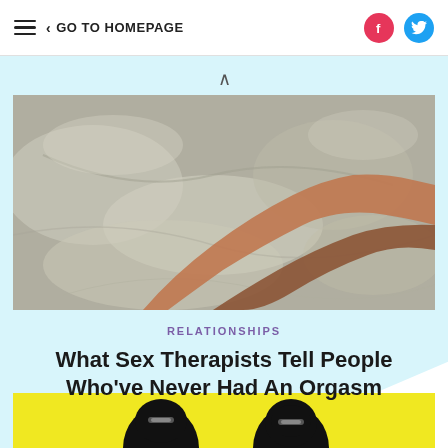≡  < GO TO HOMEPAGE
[Figure (photo): Overhead view of two hands on rumpled bed sheets, one hand resting on top of the other]
RELATIONSHIPS
What Sex Therapists Tell People Who've Never Had An Orgasm
[Figure (illustration): Partial view of a black illustrated figure on a yellow background at the bottom of the page]